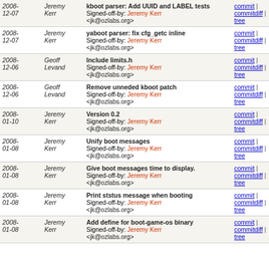| Date | Author | Message | Links |
| --- | --- | --- | --- |
| 2008-12-07 | Jeremy Kerr | kboot parser: Add UUID and LABEL tests
Signed-off-by: Jeremy Kerr <jk@ozlabs.org> | commit | commitdiff | tree |
| 2008-12-07 | Jeremy Kerr | yaboot parser: fix cfg_getc inline
Signed-off-by: Jeremy Kerr <jk@ozlabs.org> | commit | commitdiff | tree |
| 2008-12-06 | Geoff Levand | Include limits.h
Signed-off-by: Jeremy Kerr <jk@ozlabs.org> | commit | commitdiff | tree |
| 2008-12-06 | Geoff Levand | Remove unneded kboot patch
Signed-off-by: Jeremy Kerr <jk@ozlabs.org> | commit | commitdiff | tree |
| 2008-01-10 | Jeremy Kerr | Version 0.2
Signed-off-by: Jeremy Kerr <jk@ozlabs.org> | commit | commitdiff | tree |
| 2008-01-08 | Jeremy Kerr | Unify boot messages
Signed-off-by: Jeremy Kerr <jk@ozlabs.org> | commit | commitdiff | tree |
| 2008-01-08 | Jeremy Kerr | Give boot messages time to display.
Signed-off-by: Jeremy Kerr <jk@ozlabs.org> | commit | commitdiff | tree |
| 2008-01-08 | Jeremy Kerr | Print ststus message when booting
Signed-off-by: Jeremy Kerr <jk@ozlabs.org> | commit | commitdiff | tree |
| 2008-01-08 | Jeremy Kerr | Add define for boot-game-os binary
Signed-off-by: Jeremy Kerr <jk@ozlabs.org> | commit | commitdiff | tree |